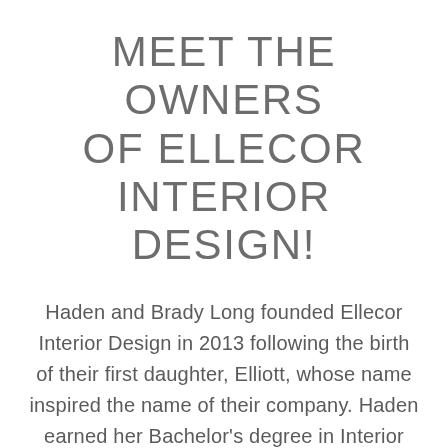MEET THE OWNERS OF ELLECOR INTERIOR DESIGN!
Haden and Brady Long founded Ellecor Interior Design in 2013 following the birth of their first daughter, Elliott, whose name inspired the name of their company. Haden earned her Bachelor's degree in Interior Design from Missouri State University. Throughout her interior design career, she has won numerous